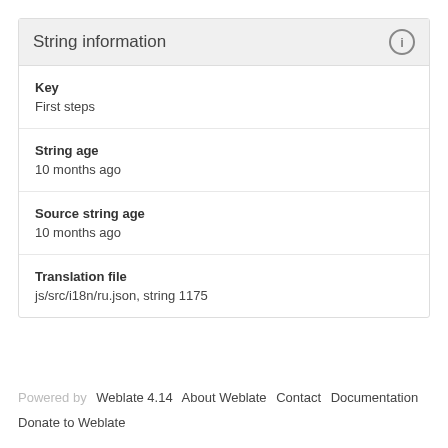String information
Key
First steps
String age
10 months ago
Source string age
10 months ago
Translation file
js/src/i18n/ru.json, string 1175
Powered by Weblate 4.14  About Weblate  Contact  Documentation
Donate to Weblate